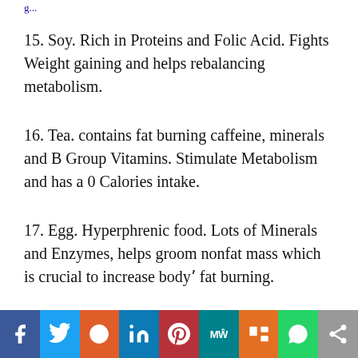g... [truncated continuation from previous page]
15. Soy. Rich in Proteins and Folic Acid. Fights Weight gaining and helps rebalancing metabolism.
16. Tea. contains fat burning caffeine, minerals and B Group Vitamins. Stimulate Metabolism and has a 0 Calories intake.
17. Egg. Hyperphrenic food. Lots of Minerals and Enzymes, helps groom nonfat mass which is crucial to increase body' fat burning.
[Figure (infographic): Social media share bar with icons: Facebook (blue), Twitter (light blue), Reddit (orange), LinkedIn (dark blue), Pinterest (red), MeWe (teal), Mix (orange), WhatsApp (green), Share (gray)]